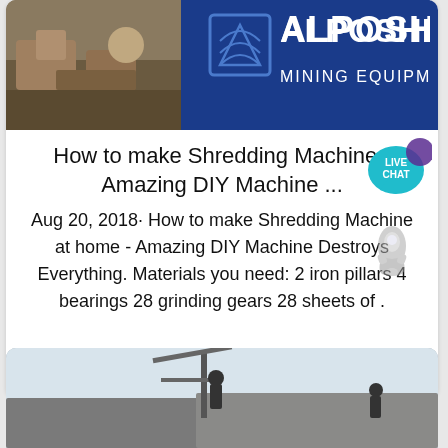[Figure (photo): Top banner with a photo of quarry/mining site on the left and ALPOSHER Mining Equipment logo on a dark blue background on the right]
How to make Shredding Machine - Amazing DIY Machine ...
Aug 20, 2018· How to make Shredding Machine at home - Amazing DIY Machine Destroys Everything. Materials you need: 2 iron pillars 4 bearings 28 grinding gears 28 sheets of .
[Figure (logo): Live Chat speech bubble icon in teal/cyan color with white text LIVE CHAT]
[Figure (illustration): Rocket icon in grey]
view more
[Figure (photo): Bottom partial image showing construction workers on scaffolding on a roof]